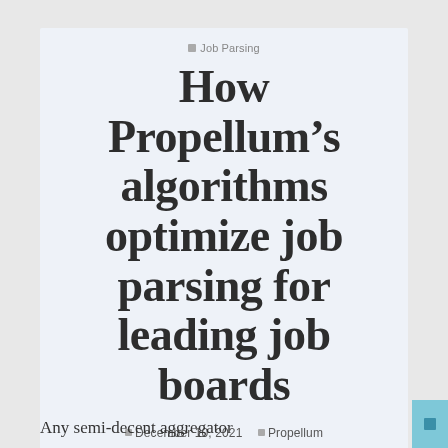Job Parsing
How Propellum’s algorithms optimize job parsing for leading job boards
December 10, 2021  Propellum
Any semi-decent aggregator